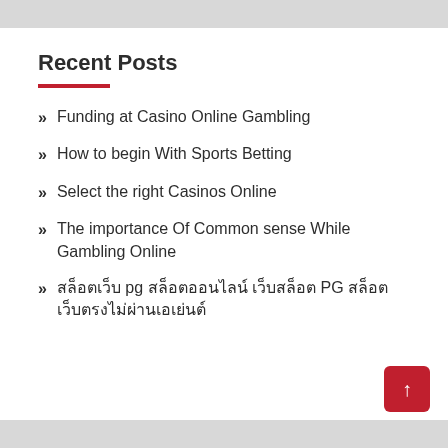Recent Posts
Funding at Casino Online Gambling
How to begin With Sports Betting
Select the right Casinos Online
The importance Of Common sense While Gambling Online
สล็อตเว็บ pg สล็อตออนไลน์ เว็บสล็อต PG สล็อต เว็บตรงไม่ผ่านเอเย่นต์